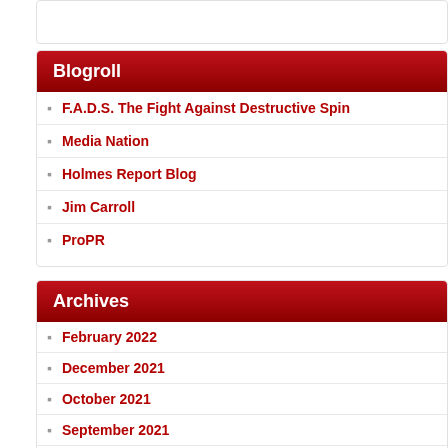Blogroll
F.A.D.S. The Fight Against Destructive Spin
Media Nation
Holmes Report Blog
Jim Carroll
ProPR
Archives
February 2022
December 2021
October 2021
September 2021
August 2021
July 2021
June 2021